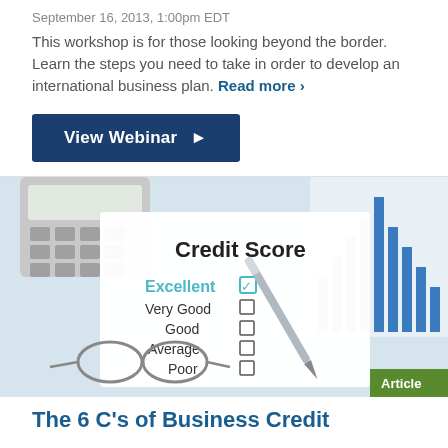September 16, 2013, 1:00pm EDT
This workshop is for those looking beyond the border. Learn the steps you need to take in order to develop an international business plan. Read more ›
View Webinar ►
[Figure (photo): Photo of a credit score form showing ratings: Excellent (checked), Very Good, Good, Average, Poor — surrounded by a calculator, glasses, a pen, and bar charts in the background.]
Article
The 6 C’s of Business Credit